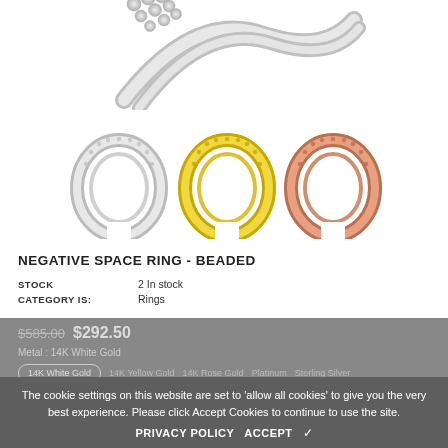[Figure (photo): Top portion of a white gold beaded negative space ring with small ball clusters, viewed from above on white background]
[Figure (photo): Three beaded negative space rings side by side: white gold, yellow gold, and rose gold variants]
NEGATIVE SPACE RING - BEADED
STOCK   2 In stock
CATEGORY IS:   Rings
The cookie settings on this website are set to 'allow all cookies' to give you the very best experience. Please click Accept Cookies to continue to use the site.
PRIVACY POLICY   ACCEPT ✓